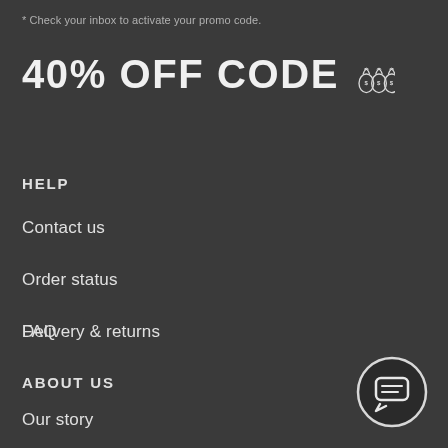* Check your inbox to activate your promo code.
40% OFF CODE 💰💰💰
HELP
Contact us
Order status
Delivery & returns
FAQ
ABOUT US
Our story
[Figure (illustration): Chat/messaging button icon — dark circle with white speech bubble containing lines]